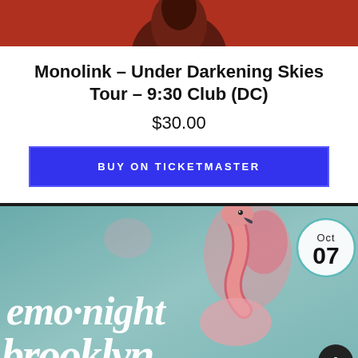[Figure (photo): Top portion of a concert/performer photo with red background, partially cropped]
Monolink – Under Darkening Skies Tour – 9:30 Club (DC)
$30.00
BUY ON TICKETMASTER
[Figure (photo): Emo Night Brooklyn event poster featuring a pink flamingo on a teal background with stylized gothic lettering reading 'EMO·NIGHT BROOKLYN' and an Oct 07 date badge]